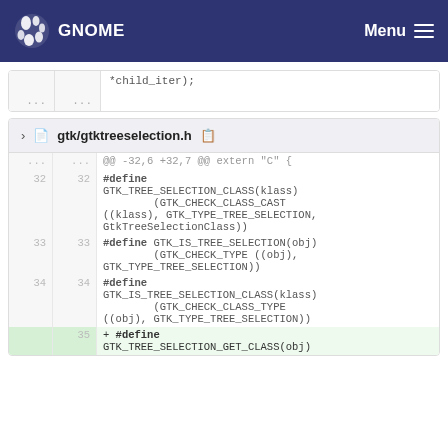GNOME  Menu
*child_iter);   ...   ...
gtk/gtktreeselection.h
@@ -32,6 +32,7 @@ extern "C" {
32  32  #define GTK_TREE_SELECTION_CLASS(klass) (GTK_CHECK_CLASS_CAST ((klass), GTK_TYPE_TREE_SELECTION, GtkTreeSelectionClass))
33  33  #define GTK_IS_TREE_SELECTION(obj) (GTK_CHECK_TYPE ((obj), GTK_TYPE_TREE_SELECTION))
34  34  #define GTK_IS_TREE_SELECTION_CLASS(klass) (GTK_CHECK_CLASS_TYPE ((obj), GTK_TYPE_TREE_SELECTION))
    35  + #define GTK_TREE_SELECTION_GET_CLASS(obj)